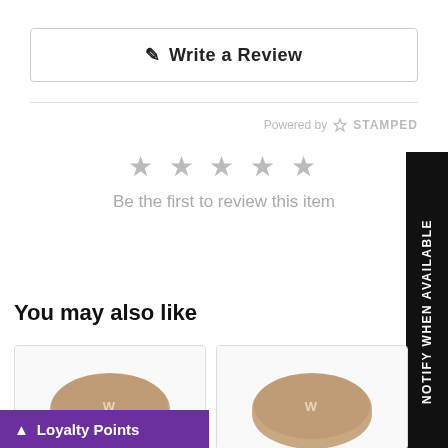✎  Write a Review
Powered by ✦ STAMPED
[Figure (other): Five empty grey star rating icons]
Be the first to review this item
NOTIFY WHEN AVAILABLE
You may also like
[Figure (photo): Product image showing a round tan/beige compact lid with logo]
[Figure (photo): Product image showing a round tan/beige compact lid with logo]
🔼 Loyalty Points